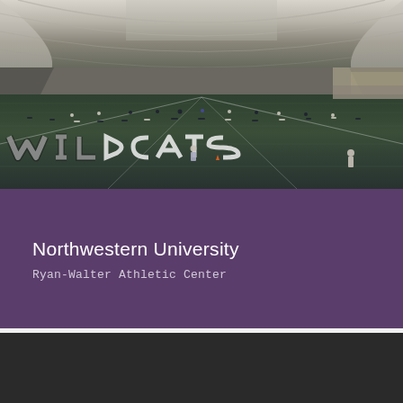[Figure (photo): Indoor football practice facility at Northwestern University Ryan-Walter Athletic Center. Wide panoramic view of an indoor turf field with players and staff visible. Large stylized letters visible on the turf. Inflatable dome structure with arched ceiling visible above.]
Northwestern University
Ryan-Walter Athletic Center
LinkedIn